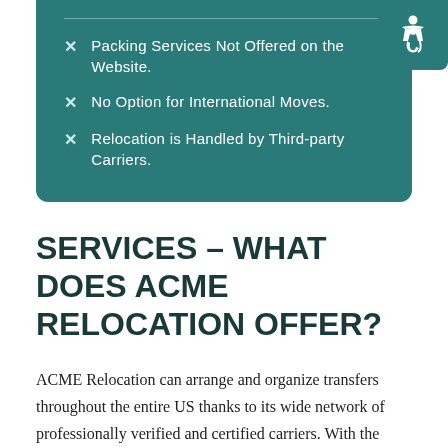Packing Services Not Offered on the Website.
No Option for International Moves.
Relocation is Handled by Third-party Carriers.
SERVICES – WHAT DOES ACME RELOCATION OFFER?
ACME Relocation can arrange and organize transfers throughout the entire US thanks to its wide network of professionally verified and certified carriers. With the range of excellent services, the company provides a suitable option for every relocation task. This accredited moving brokerage firm helps ease clients' relocation by offering the following: